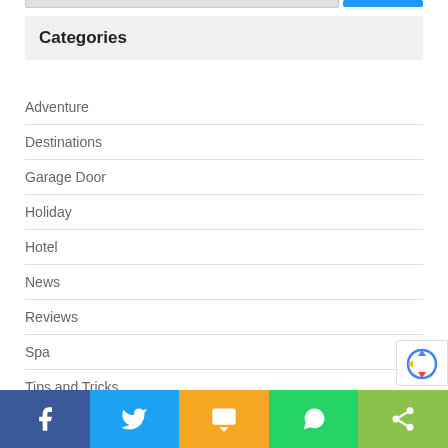Categories
Adventure
Destinations
Garage Door
Holiday
Hotel
News
Reviews
Spa
Tips and Tricks
Top Places
[Figure (screenshot): Social share bar with Facebook, Twitter, SMS, WhatsApp, and share buttons]